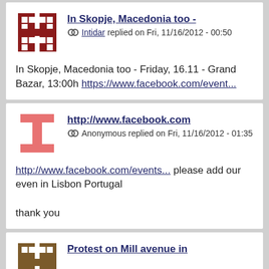In Skopje, Macedonia too -
Intidar replied on Fri, 11/16/2012 - 00:50
In Skopje, Macedonia too - Friday, 16.11 - Grand Bazar, 13:00h https://www.facebook.com/event...
http://www.facebook.com
Anonymous replied on Fri, 11/16/2012 - 01:35
http://www.facebook.com/events... please add our even in Lisbon Portugal

thank you
Protest on Mill avenue in